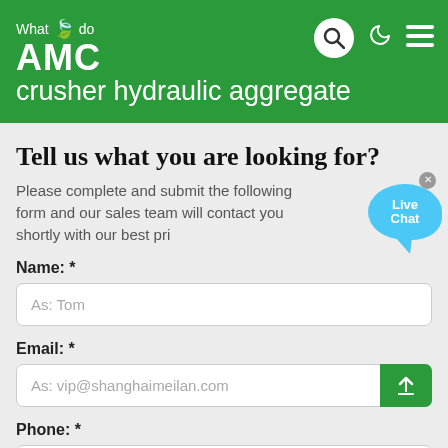What we do AMC crusher hydraulic aggregate
Tell us what you are looking for?
Please complete and submit the following form and our sales team will contact you shortly with our best pri
Name: *
As: Tom
Email: *
As: vip@shanghaimeilan.com
Phone: *
With Country Code
The Location of the Project: